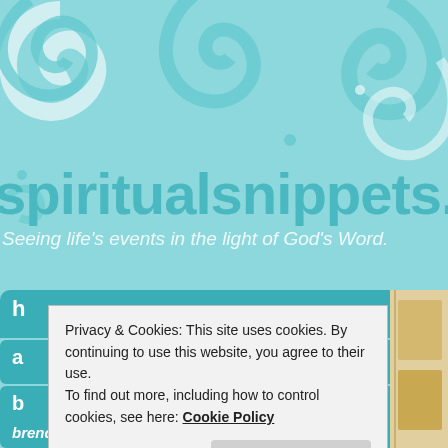[Figure (illustration): Light teal/turquoise background with decorative white and teal swirl/scroll patterns in the upper portion of the page. This forms the website header background.]
spiritualsnippets.com
Seeing life's events in the light of God's Word.
Privacy & Cookies: This site uses cookies. By continuing to use this website, you agree to their use.
To find out more, including how to control cookies, see here: Cookie Policy
Close and accept
h
d
b
brenda's books